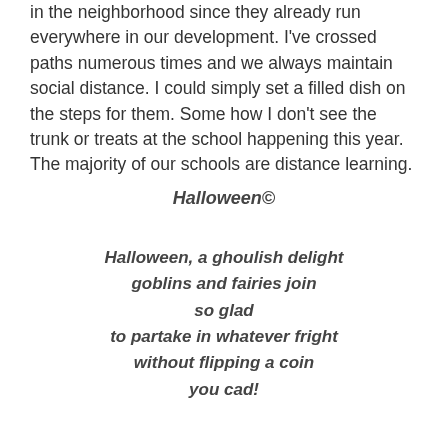in the neighborhood since they already run everywhere in our development. I've crossed paths numerous times and we always maintain social distance. I could simply set a filled dish on the steps for them. Some how I don't see the trunk or treats at the school happening this year. The majority of our schools are distance learning.
Halloween©
Halloween, a ghoulish delight
goblins and fairies join
so glad
to partake in whatever fright
without flipping a coin
you cad!